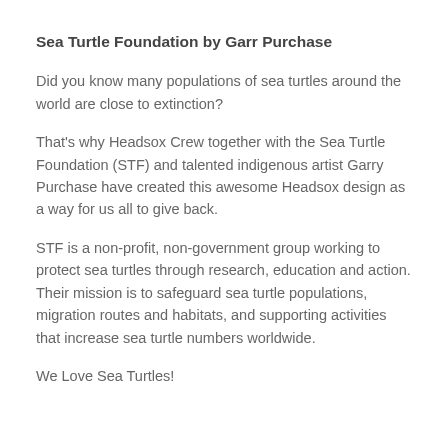Sea Turtle Foundation by Garr Purchase
Did you know many populations of sea turtles around the world are close to extinction?
That's why Headsox Crew together with the Sea Turtle Foundation (STF) and talented indigenous artist Garry Purchase have created this awesome Headsox design as a way for us all to give back.
STF is a non-profit, non-government group working to protect sea turtles through research, education and action. Their mission is to safeguard sea turtle populations, migration routes and habitats, and supporting activities that increase sea turtle numbers worldwide.
We Love Sea Turtles!